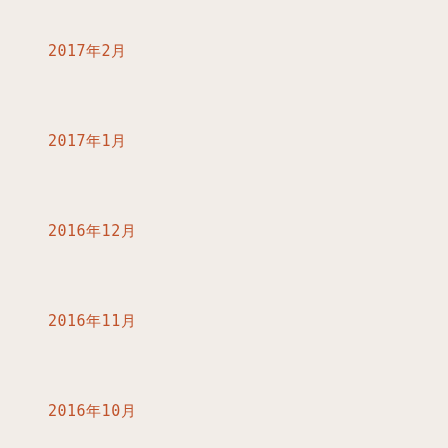2017年2月
2017年1月
2016年12月
2016年11月
2016年10月
2016年9月
2016年8月
2016年7月
2016年6月
2016年5月
2016年4月